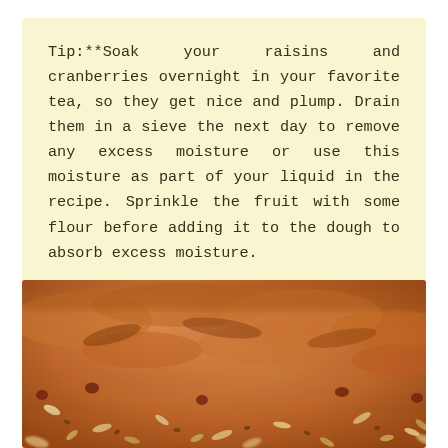Tip:**Soak your raisins and cranberries overnight in your favorite tea, so they get nice and plump. Drain them in a sieve the next day to remove any excess moisture or use this moisture as part of your liquid in the recipe. Sprinkle the fruit with some flour before adding it to the dough to absorb excess moisture.
[Figure (photo): Close-up photo of rustic bread with seeds, raisins and cranberries visible on the crust surface, warm golden-brown tones]